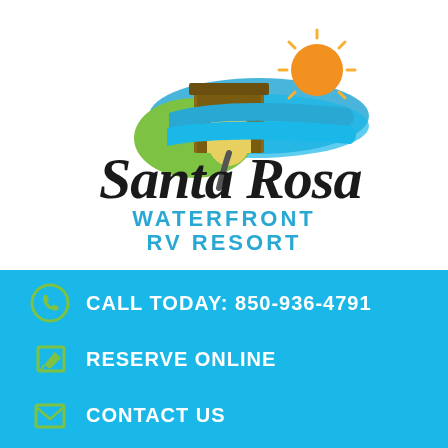[Figure (logo): Santa Rosa Waterfront RV Resort logo featuring a building with arch, green hill, blue water waves, and an orange sun, with cursive 'Santa Rosa' text and 'WATERFRONT RV RESORT' in blue block letters below]
CALL TODAY: 850-936-4791
RESERVE ONLINE
CONTACT US